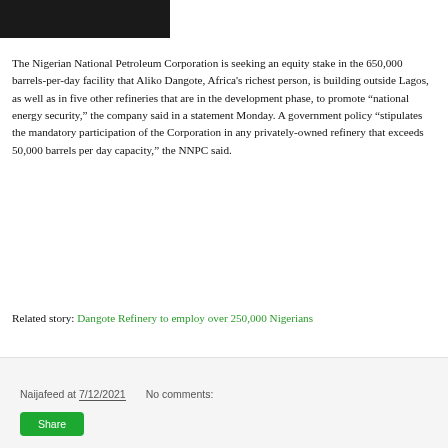[Figure (screenshot): Partial screenshot of a website navigation bar with dark background]
The Nigerian National Petroleum Corporation is seeking an equity stake in the 650,000 barrels-per-day facility that Aliko Dangote, Africa's richest person, is building outside Lagos, as well as in five other refineries that are in the development phase, to promote “national energy security,” the company said in a statement Monday. A government policy “stipulates the mandatory participation of the Corporation in any privately-owned refinery that exceeds 50,000 barrels per day capacity,” the NNPC said.
Related story: Dangote Refinery to employ over 250,000 Nigerians
Naijafeed at 7/12/2021   No comments: